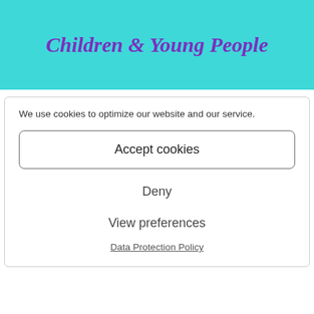Children & Young People
We use cookies to optimize our website and our service.
Accept cookies
Deny
View preferences
Data Protection Policy